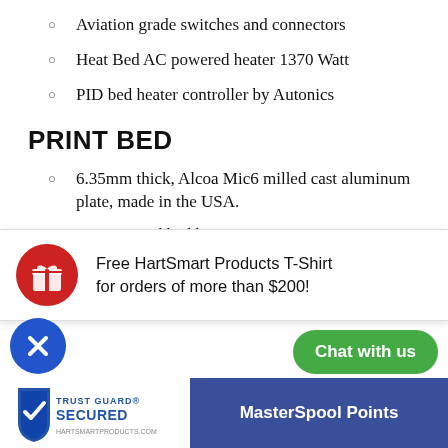Aviation grade switches and connectors
Heat Bed AC powered heater 1370 Watt
PID bed heater controller by Autonics
PRINT BED
6.35mm thick, Alcoa Mic6 milled cast aluminum plate, made in the USA.
AC powered bed heater 1370 Watt.
Requires additional independent 15A (partial)
200X200mm size for smal... lower power consumption
ax temperature – 120C
Free HartSmart Products T-Shirt for orders of more than $200!
[Figure (logo): Trust Guard Secured badge]
Chat with us
MasterSpool Points